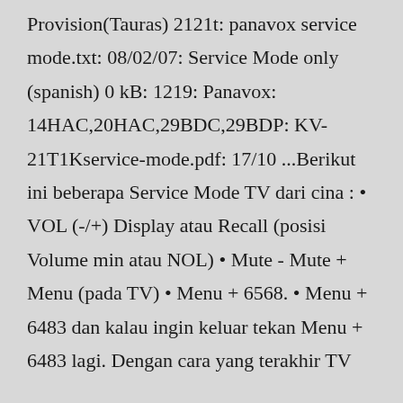Provision(Tauras) 2121t: panavox service mode.txt: 08/02/07: Service Mode only (spanish) 0 kB: 1219: Panavox: 14HAC,20HAC,29BDC,29BDP: KV-21T1Kservice-mode.pdf: 17/10 ...Berikut ini beberapa Service Mode TV dari cina : • VOL (-/+) Display atau Recall (posisi Volume min atau NOL) • Mute - Mute + Menu (pada TV) • Menu + 6568. • Menu + 6483 dan kalau ingin keluar tekan Menu + 6483 lagi. Dengan cara yang terakhir TV